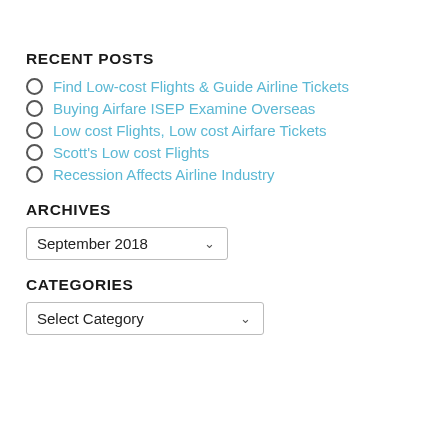RECENT POSTS
Find Low-cost Flights & Guide Airline Tickets
Buying Airfare ISEP Examine Overseas
Low cost Flights, Low cost Airfare Tickets
Scott's Low cost Flights
Recession Affects Airline Industry
ARCHIVES
September 2018
CATEGORIES
Select Category